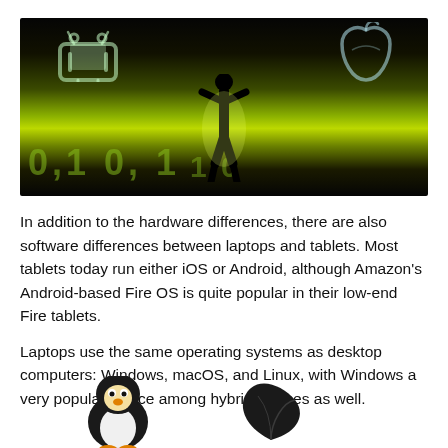[Figure (photo): A silhouette of a person holding up the Android and Apple logos against a green binary code background]
In addition to the hardware differences, there are also software differences between laptops and tablets. Most tablets today run either iOS or Android, although Amazon's Android-based Fire OS is quite popular in their low-end Fire tablets.
Laptops use the same operating systems as desktop computers: Windows, macOS, and Linux, with Windows a very popular choice among hybrid devices as well.
[Figure (illustration): Linux Tux penguin mascot and an Apple leaf logo illustration at the bottom of the page]